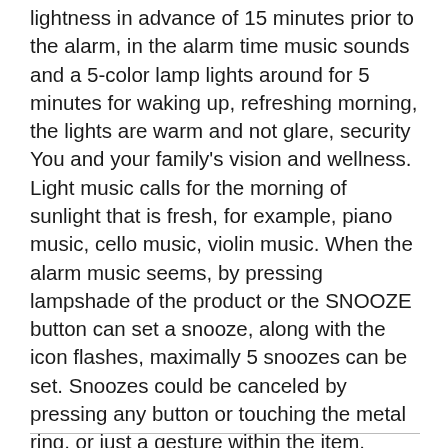lightness in advance of 15 minutes prior to the alarm, in the alarm time music sounds and a 5-color lamp lights around for 5 minutes for waking up, refreshing morning, the lights are warm and not glare, security You and your family's vision and wellness. Light music calls for the morning of sunlight that is fresh, for example, piano music, cello music, violin music. When the alarm music seems, by pressing lampshade of the product or the SNOOZE button can set a snooze, along with the icon flashes, maximally 5 snoozes can be set. Snoozes could be canceled by pressing any button or touching the metal ring, or just a gesture within the item.